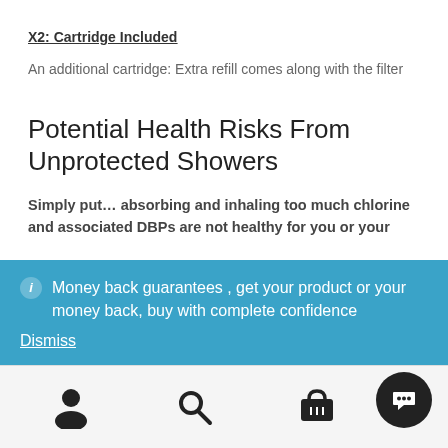X2: Cartridge Included
An additional cartridge: Extra refill comes along with the filter
Potential Health Risks From Unprotected Showers
Simply put… absorbing and inhaling too much chlorine and associated DBPs are not healthy for you or your
Money back guarantees , get your product or your money back, buy with complete confidence
Dismiss